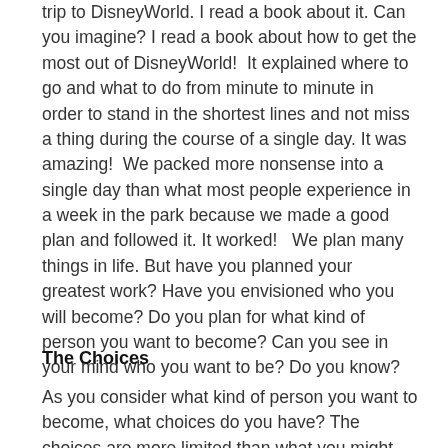trip to DisneyWorld. I read a book about it. Can you imagine? I read a book about how to get the most out of DisneyWorld!  It explained where to go and what to do from minute to minute in order to stand in the shortest lines and not miss a thing during the course of a single day. It was amazing!  We packed more nonsense into a single day than what most people experience in a week in the park because we made a good plan and followed it. It worked!   We plan many things in life. But have you planned your greatest work? Have you envisioned who you will become? Do you plan for what kind of person you want to become? Can you see in your mind who you want to be? Do you know?
The Choices
As you consider what kind of person you want to become, what choices do you have? The choices are more limited than what you might think. Here are most